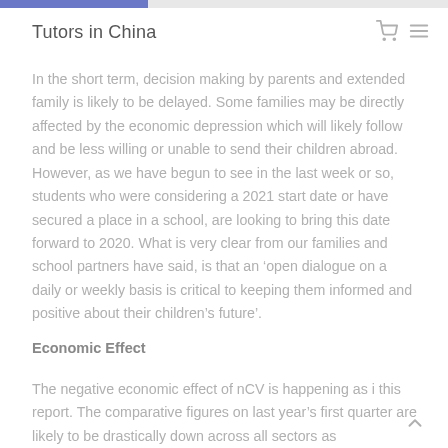Tutors in China
In the short term, decision making by parents and extended family is likely to be delayed. Some families may be directly affected by the economic depression which will likely follow and be less willing or unable to send their children abroad. However, as we have begun to see in the last week or so, students who were considering a 2021 start date or have secured a place in a school, are looking to bring this date forward to 2020. What is very clear from our families and school partners have said, is that an ‘open dialogue on a daily or weekly basis is critical to keeping them informed and positive about their children’s future’.
Economic Effect
The negative economic effect of nCV is happening as i this report. The comparative figures on last year’s first quarter are likely to be drastically down across all sectors as